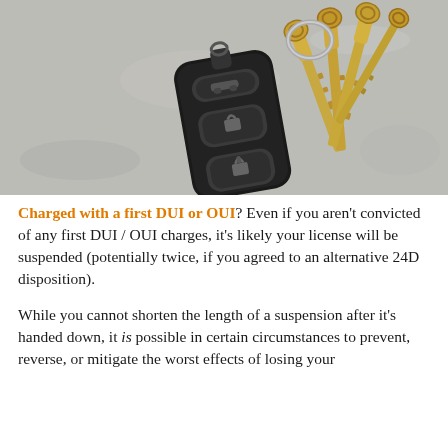[Figure (photo): Close-up photo of a car key fob (black, with three buttons) attached to a ring with several metal keys, resting on a gray concrete-like surface.]
Charged with a first DUI or OUI? Even if you aren't convicted of any first DUI / OUI charges, it's likely your license will be suspended (potentially twice, if you agreed to an alternative 24D disposition).
While you cannot shorten the length of a suspension after it's handed down, it is possible in certain circumstances to prevent, reverse, or mitigate the worst effects of losing your